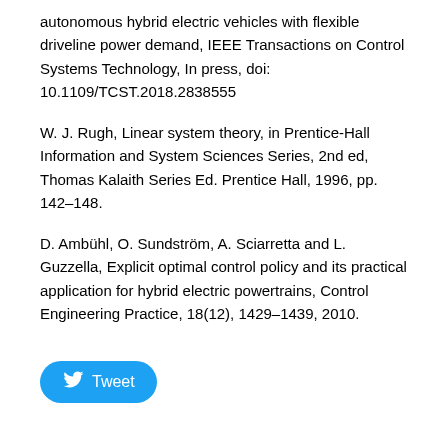autonomous hybrid electric vehicles with flexible driveline power demand, IEEE Transactions on Control Systems Technology, In press, doi: 10.1109/TCST.2018.2838555
W. J. Rugh, Linear system theory, in Prentice-Hall Information and System Sciences Series, 2nd ed, Thomas Kalaith Series Ed. Prentice Hall, 1996, pp. 142–148.
D. Ambühl, O. Sundström, A. Sciarretta and L. Guzzella, Explicit optimal control policy and its practical application for hybrid electric powertrains, Control Engineering Practice, 18(12), 1429–1439, 2010.
[Figure (other): Tweet button with Twitter bird icon]
Refbacks
There are currently no refbacks.